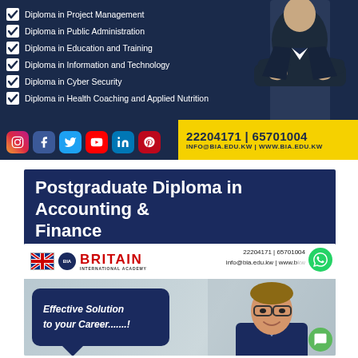[Figure (infographic): Top dark navy banner with checklist of diploma programs, person in suit on right, social media icons bottom left, yellow contact bar bottom right]
Diploma in Project Management
Diploma in Public Administration
Diploma in Education and Training
Diploma in Information and Technology
Diploma in Cyber Security
Diploma in Health Coaching and Applied Nutrition
22204171 | 65701004
INFO@BIA.EDU.KW | WWW.BIA.EDU.KW
Postgraduate Diploma in Accounting & Finance
[Figure (infographic): Britain International Academy branding banner with contact info, man with glasses in suit, speech bubble saying Effective Solution to your Career.......!]